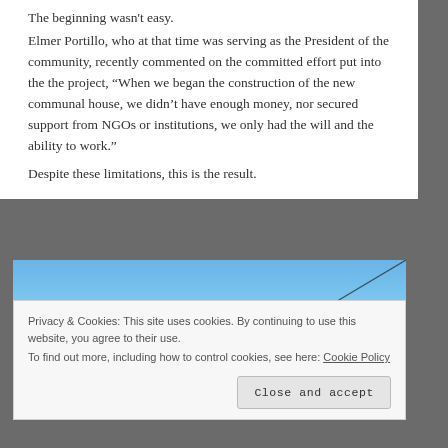The beginning wasn't easy.
Elmer Portillo, who at that time was serving as the President of the community, recently commented on the committed effort put into the the project, “When we began the construction of the new communal house, we didn’t have enough money, nor secured support from NGOs or institutions, we only had the will and the ability to work.”
Despite these limitations, this is the result.
[Figure (photo): Outdoor photo showing a blue sky with light clouds and trees at the bottom, with a diagonal wire or cable line visible across the sky.]
Privacy & Cookies: This site uses cookies. By continuing to use this website, you agree to their use.
To find out more, including how to control cookies, see here: Cookie Policy
Close and accept